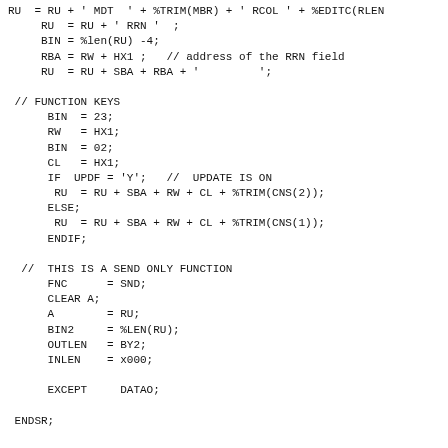RU  = RU + ' MDT  ' + %TRIM(MBR) + ' RCOL ' + %EDITC(RLEN
     RU  = RU + ' RRN '  ;
     BIN = %len(RU) -4;
     RBA = RW + HX1 ;   // address of the RRN field
     RU  = RU + SBA + RBA + '         ';

 // FUNCTION KEYS
      BIN  = 23;
      RW   = HX1;
      BIN  = 02;
      CL   = HX1;
      IF  UPDF = 'Y';   //  UPDATE IS ON
       RU  = RU + SBA + RW + CL + %TRIM(CNS(2));
      ELSE;
       RU  = RU + SBA + RW + CL + %TRIM(CNS(1));
      ENDIF;

  //  THIS IS A SEND ONLY FUNCTION
      FNC      = SND;
      CLEAR A;
      A        = RU;
      BIN2     = %LEN(RU);
      OUTLEN   = BY2;
      INLEN    = x000;

      EXCEPT     DATAO;

 ENDSR;


  //  @@@@@@@   KEYIN  @@@@@@@@@@@@@@@@@@@@@@@@@@@
   BEGSR   @KEYIN;
  // ISSUE A READ FROM DISPLAY
      FNC = SNR;
      BIN2    = 8;
      OUTLEN = BY2;
      IPL = LENF + 34;
      BIN2    = IPL;